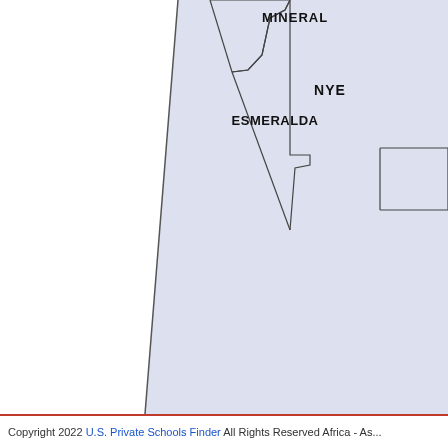[Figure (map): Partial map of Nevada counties showing MINERAL, ESMERALDA, and NYE counties with light purple fill and black outlines. The map is cropped showing the southwestern portion of Nevada with a diagonal border (state boundary) running from upper-left to lower-right.]
Copyright 2022 U.S. Private Schools Finder All Rights Reserved Africa - As...